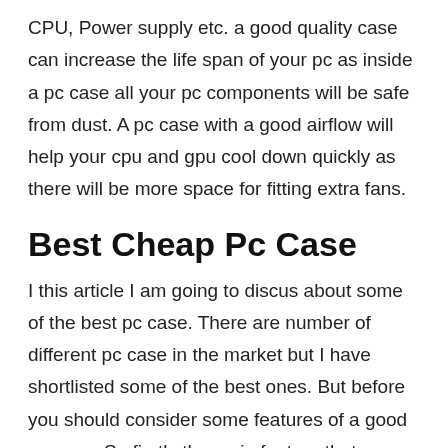CPU, Power supply etc. a good quality case can increase the life span of your pc as inside a pc case all your pc components will be safe from dust. A pc case with a good airflow will help your cpu and gpu cool down quickly as there will be more space for fitting extra fans.
Best Cheap Pc Case
I this article I am going to discus about some of the best pc case. There are number of different pc case in the market but I have shortlisted some of the best ones. But before you should consider some features of a good pc case. So firstly the main feature that you should look for is the quality of a pc case as a good quality case will provide a good durability and a longer life span.